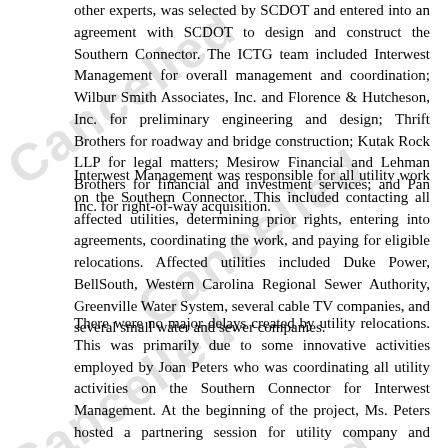other experts, was selected by SCDOT and entered into an agreement with SCDOT to design and construct the Southern Connector. The ICTG team included Interwest Management for overall management and coordination; Wilbur Smith Associates, Inc. and Florence & Hutcheson, Inc. for preliminary engineering and design; Thrift Brothers for roadway and bridge construction; Kutak Rock LLP for legal matters; Mesirow Financial and Lehman Brothers for financial and investment services; and Pan Inc. for right-of-way acquisition.
Interwest Management was responsible for all utility work on the Southern Connector. This included contacting all affected utilities, determining prior rights, entering into agreements, coordinating the work, and paying for eligible relocations. Affected utilities included Duke Power, BellSouth, Western Carolina Regional Sewer Authority, Greenville Water System, several cable TV companies, and several small water and sewer companies.
There were no major delays created by utility relocations. This was primarily due to some innovative activities employed by Joan Peters who was coordinating all utility activities on the Southern Connector for Interwest Management. At the beginning of the project, Ms. Peters hosted a partnering session for utility company and SCDOT representatives. Since a private developer was managing the project instead of SCDOT there were unique issues that had to be addressed. The partnering session lasted four hours and addressed many issues